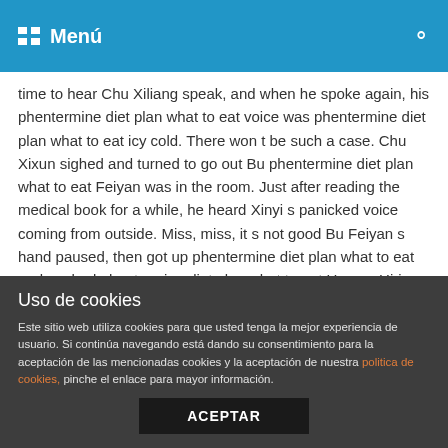Menú
time to hear Chu Xiliang speak, and when he spoke again, his phentermine diet plan what to eat voice was phentermine diet plan what to eat icy cold. There won t be such a case. Chu Xixun sighed and turned to go out Bu phentermine diet plan what to eat Feiyan was in the room. Just after reading the medical book for a while, he heard Xinyi s panicked voice coming from outside. Miss, miss, it s not good Bu Feiyan s hand paused, then got up phentermine diet plan what to eat and pushed phentermine diet plan what to eat Umeen Hiria the door, just in time to phentermine diet plan what to eat see Xinyi running in The Best phentermine diet plan what to eat from outside. She came to Bu Feiyan s face out of breath, clutching her chest, and said with some breathlessness Miss, it s okay, something has happened, the Yufei empress was found out, and Mrs. Li I don t want to diet
Uso de cookies
Este sitio web utiliza cookies para que usted tenga la mejor experiencia de usuario. Si continúa navegando está dando su consentimiento para la aceptación de las mencionadas cookies y la aceptación de nuestra política de cookies, pinche el enlace para mayor información.